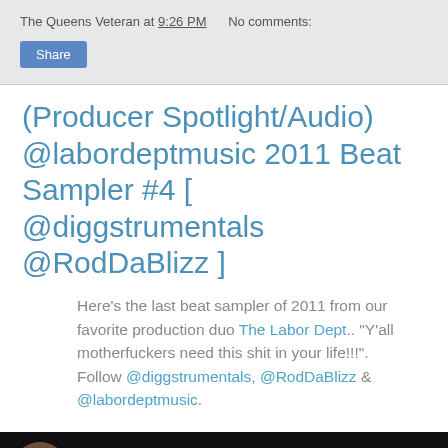The Queens Veteran at 9:26 PM    No comments:
Share
(Producer Spotlight/Audio) @labordeptmusic 2011 Beat Sampler #4 [ @diggstrumentals @RodDaBlizz ]
Here's the last beat sampler of 2011 from our favorite production duo The Labor Dept.. "Y'all motherfuckers need this shit in your life!!!". Follow @diggstrumentals, @RodDaBlizz & @labordeptmusic.
[Figure (screenshot): YouTube video thumbnail showing 'Labor Department 2011 Beat Sa...' with a circular avatar of a person on left, video title text in white on black background, three-dot menu icon on right, and Labor Department logo watermark in center-bottom area.]